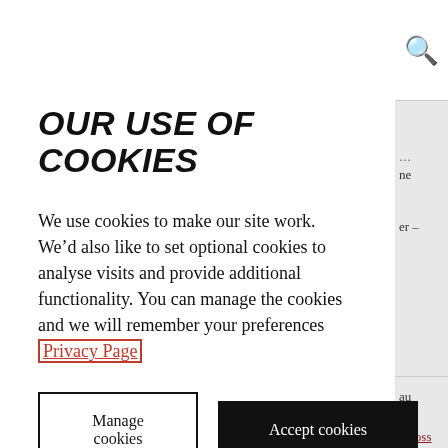OUR USE OF COOKIES
We use cookies to make our site work. We’d also like to set optional cookies to analyse visits and provide additional functionality. You can manage the cookies and we will remember your preferences Privacy Page
Manage cookies
Accept cookies